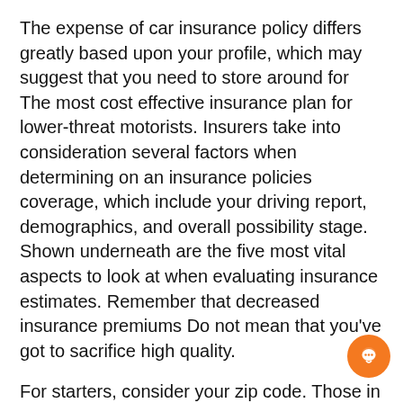The expense of car insurance policy differs greatly based upon your profile, which may suggest that you need to store around for The most cost effective insurance plan for lower-threat motorists. Insurers take into consideration several factors when determining on an insurance policies coverage, which include your driving report, demographics, and overall possibility stage. Shown underneath are the five most vital aspects to look at when evaluating insurance estimates. Remember that decreased insurance premiums Do not mean that you've got to sacrifice high quality.
For starters, consider your zip code. Those in large-criminal offense regions will facial area higher prices. Also, insurance coverage organizations get website traffic quantity into account. Also, ensure you do not have any incidents or claims on your report, as these will raise your premiums. And lastly, Remember the fact that you ought to Evaluate rates just about every six months to stop shelling out in excess you have to. It's also wise to take into consideration